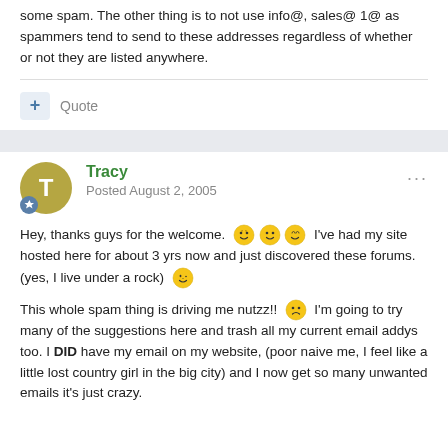some spam. The other thing is to not use info@, sales@ 1@ as spammers tend to send to these addresses regardless of whether or not they are listed anywhere.
Quote
Tracy
Posted August 2, 2005
Hey, thanks guys for the welcome. 😊😊😊 I've had my site hosted here for about 3 yrs now and just discovered these forums. (yes, I live under a rock) 😉

This whole spam thing is driving me nutzz!! 😞 I'm going to try many of the suggestions here and trash all my current email addys too. I DID have my email on my website, (poor naive me, I feel like a little lost country girl in the big city) and I now get so many unwanted emails it's just crazy.